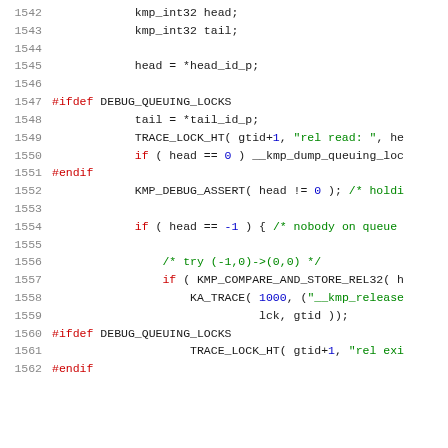[Figure (screenshot): Source code listing lines 1542-1562 in C/C++ with syntax highlighting. Line numbers in gray on left, preprocessor directives in red, string literals and comments in green, numeric literals in blue, regular code in dark/black.]